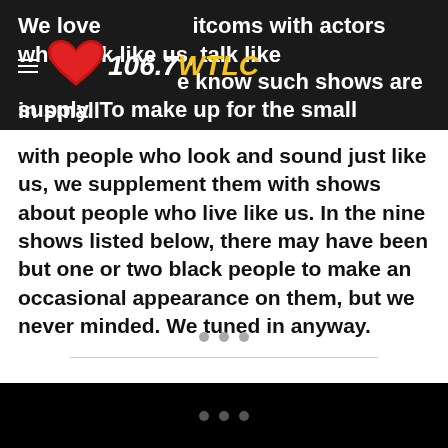106.7 WTLC
We love sitcoms with actors who look like us, talk like us, and we know such shows are in small supply. To make up for the small amount of television shows with people who look and sound just like us, we supplement them with shows about people who live like us. In the nine shows listed below, there may have been but one or two black people to make an occasional appearance on them, but we never minded. We tuned in anyway.